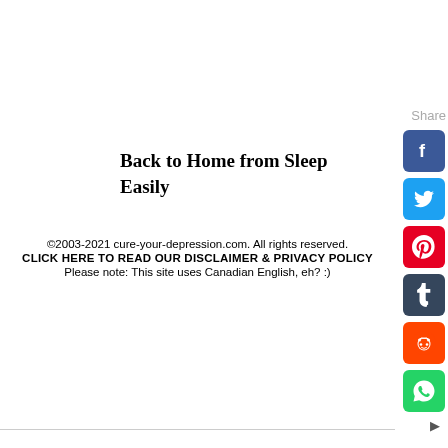Back to Home from Sleep Easily
©2003-2021 cure-your-depression.com. All rights reserved.
CLICK HERE TO READ OUR DISCLAIMER & PRIVACY POLICY
Please note: This site uses Canadian English, eh? :)